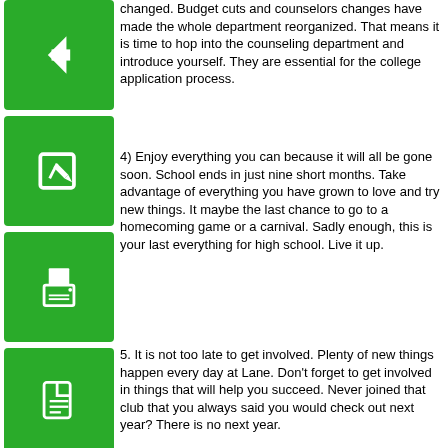[Figure (illustration): Green square icon with white left arrow]
changed. Budget cuts and counselors changes have made the whole department reorganized. That means it is time to hop into the counseling department and introduce yourself. They are essential for the college application process.
[Figure (illustration): Green square icon with white pencil/edit symbol]
[Figure (illustration): Green square icon with white printer symbol]
4) Enjoy everything you can because it will all be gone soon. School ends in just nine short months. Take advantage of everything you have grown to love and try new things. It maybe the last chance to go to a homecoming game or a carnival. Sadly enough, this is your last everything for high school. Live it up.
[Figure (illustration): Green square icon with white document/PDF symbol]
5. It is not too late to get involved. Plenty of new things happen every day at Lane. Don't forget to get involved in things that will help you succeed. Never joined that club that you always said you would check out next year? There is no next year.
Club Day is Oct. 1st for Juniors and Seniors after school! (for LTAC and Freshmen Club Day is Sept. 29 and Sophomore Club Day is Sept. 30) Check out clubs and extracurriculars before you go.